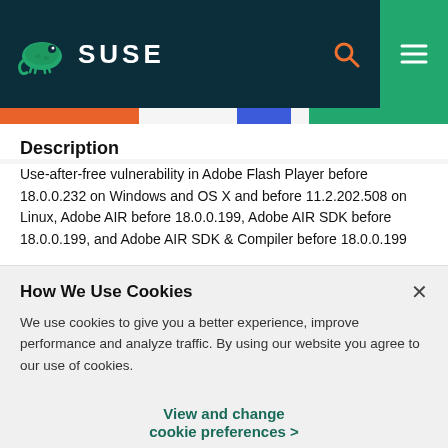SUSE
Description
Use-after-free vulnerability in Adobe Flash Player before 18.0.0.232 on Windows and OS X and before 11.2.202.508 on Linux, Adobe AIR before 18.0.0.199, Adobe AIR SDK before 18.0.0.199, and Adobe AIR SDK & Compiler before 18.0.0.199
How We Use Cookies
We use cookies to give you a better experience, improve performance and analyze traffic. By using our website you agree to our use of cookies.
View and change cookie preferences >